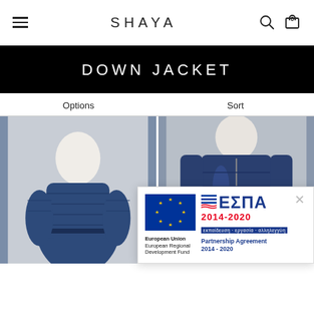SHAYA — Navigation bar with hamburger menu, search icon, and cart (0)
DOWN JACKET
Options | Sort
[Figure (photo): Two product photos of women wearing navy blue down jackets, partially visible below the fold. A popup overlay shows the ESPA EU Regional Development Fund 2014-2020 logo and text.]